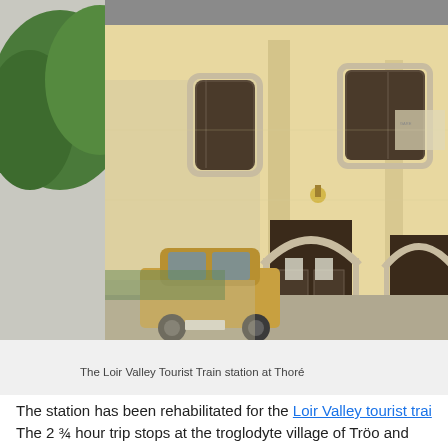[Figure (photo): A photograph of the Loir Valley Tourist Train station at Thoré. The station building is a two-story cream/yellow-painted structure with a slate roof. Green trees are visible behind on the left. A gold/tan car is parked in front. Red flower planters are near the entrance doors. The building has arched window and door frames in pale stone.]
The Loir Valley Tourist Train station at Thoré
The station has been rehabilitated for the Loir Valley tourist trai... The 2 ¾ hour trip stops at the troglodyte village of Tröo and the...